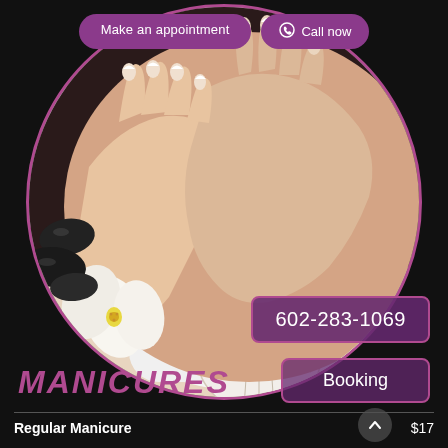[Figure (photo): Circular photo of manicured hands with French-tipped nails resting on a white towel, with white orchid flowers and black spa stones, and a decorative woven ball in the foreground. Pink/mauve circular border.]
Make an appointment
Call now
602-283-1069
MANICURES
Booking
Regular Manicure   $17